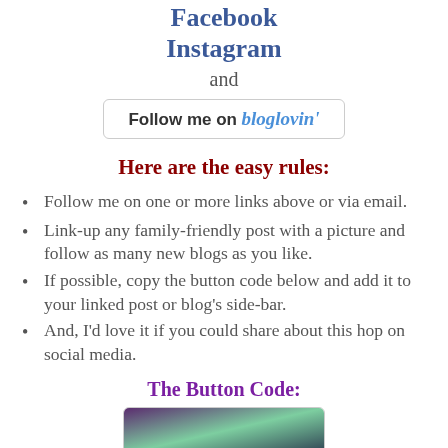Facebook
Instagram
and
[Figure (other): Follow me on bloglovin' button/badge]
Here are the easy rules:
Follow me on one or more links above or via email.
Link-up any family-friendly post with a picture and follow as many new blogs as you like.
If possible, copy the button code below and add it to your linked post or blog's side-bar.
And, I'd love it if you could share about this hop on social media.
The Button Code:
[Figure (photo): Button image preview with colorful background]